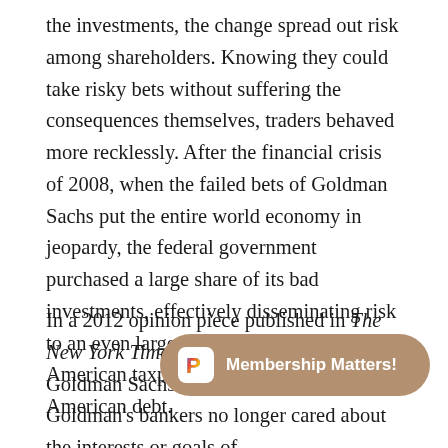the investments, the change spread out risk among shareholders. Knowing they could take risky bets without suffering the consequences themselves, traders behaved more recklessly. After the financial crisis of 2008, when the failed bets of Goldman Sachs put the entire world economy in jeopardy, the federal government purchased a large share of its bad investments, effectively disseminating risk to an even larger group of people: American taxpayers and holders of American debt.
In a 2012 opinion piece published in The New York Times, Greg Smith, a departing Goldman Sachs executive, said that Goldman's bankers no longer cared about the interests or goals of their clients, considering clients' needs ... company's bankers were only interested in making money for themselves, even if it meant betraying clients and...
[Figure (other): Membership Matters! promotional overlay button with Polaroid/P icon logo in white rounded square on tan/brown rounded pill-shaped button]